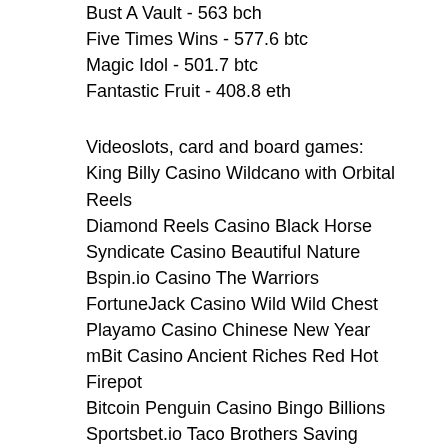Bust A Vault - 563 bch
Five Times Wins - 577.6 btc
Magic Idol - 501.7 btc
Fantastic Fruit - 408.8 eth
Videoslots, card and board games:
King Billy Casino Wildcano with Orbital Reels
Diamond Reels Casino Black Horse
Syndicate Casino Beautiful Nature
Bspin.io Casino The Warriors
FortuneJack Casino Wild Wild Chest
Playamo Casino Chinese New Year
mBit Casino Ancient Riches Red Hot Firepot
Bitcoin Penguin Casino Bingo Billions
Sportsbet.io Taco Brothers Saving Christmas
Betcoin.ag Casino Under the Bed
1xBit Casino Ocean Reef
King Billy Casino Elven Princesses
Sportsbet.io Jackpot 6000